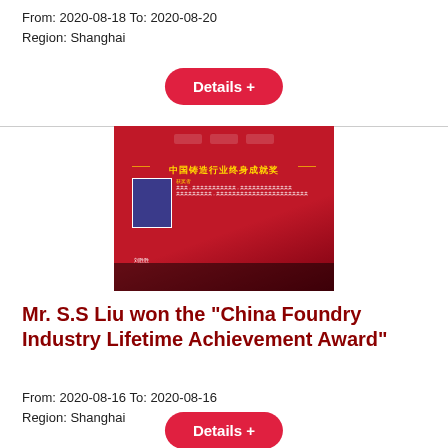From: 2020-08-18 To: 2020-08-20
Region: Shanghai
Details +
[Figure (photo): A conference room display screen showing a red slide with Chinese text reading 'China Foundry Industry Lifetime Achievement Award', featuring a portrait photo of a person and text details, with an audience visible in silhouette at the bottom.]
Mr. S.S Liu won the "China Foundry Industry Lifetime Achievement Award"
From: 2020-08-16 To: 2020-08-16
Region: Shanghai
Details +